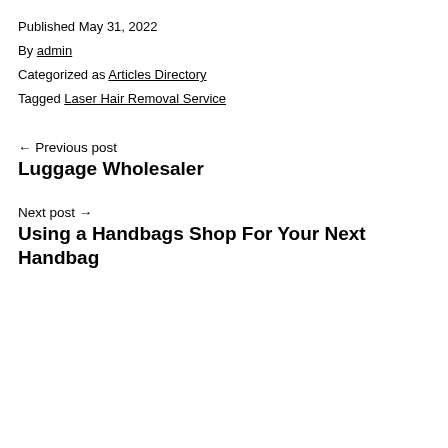Published May 31, 2022
By admin
Categorized as Articles Directory
Tagged Laser Hair Removal Service
← Previous post
Luggage Wholesaler
Next post →
Using a Handbags Shop For Your Next Handbag